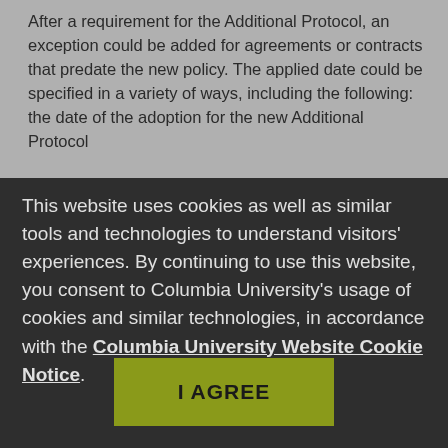After a requirement for the Additional Protocol, an exception could be added for agreements or contracts that predate the new policy. The applied date could be specified in a variety of ways, including the following: the date of the adoption for the new Additional Protocol
This website uses cookies as well as similar tools and technologies to understand visitors' experiences. By continuing to use this website, you consent to Columbia University's usage of cookies and similar technologies, in accordance with the Columbia University Website Cookie Notice.
I AGREE